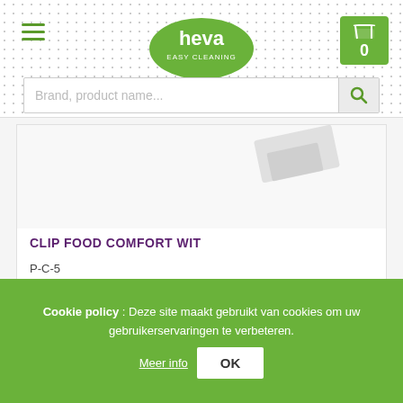[Figure (logo): Heva Easy Cleaning logo - green oval with white text]
Brand, product name...
CLIP FOOD COMFORT WIT
P-C-5
More info
Cookie policy : Deze site maakt gebruikt van cookies om uw gebruikerservaringen te verbeteren. Meer info OK